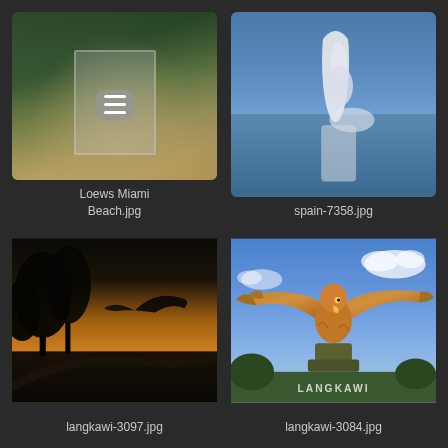[Figure (photo): Photo thumbnail of Loews Miami Beach hotel gate with tropical greenery]
Loews Miami Beach.jpg
[Figure (photo): Photo thumbnail of Spain harbor with statue on water, labeled spain-7358.jpg]
spain-7358.jpg
[Figure (photo): Photo thumbnail of Langkawi eagle sculpture silhouette at sunset, labeled langkawi-3097.jpg]
langkawi-3097.jpg
[Figure (photo): Photo thumbnail of large Langkawi eagle statue with wings spread against blue sky with LANGKAWI text, labeled langkawi-3084.jpg]
langkawi-3084.jpg